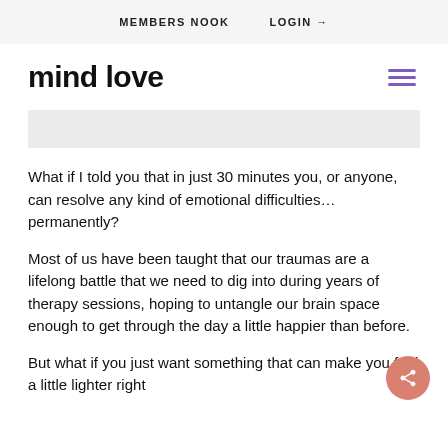MEMBERS NOOK    LOGIN →
mind love
[Figure (other): Hamburger menu icon in purple]
[Figure (other): Gray advertisement/banner bar]
What if I told you that in just 30 minutes you, or anyone, can resolve any kind of emotional difficulties… permanently?
Most of us have been taught that our traumas are a lifelong battle that we need to dig into during years of therapy sessions, hoping to untangle our brain space enough to get through the day a little happier than before.
But what if you just want something that can make you feel a little lighter right